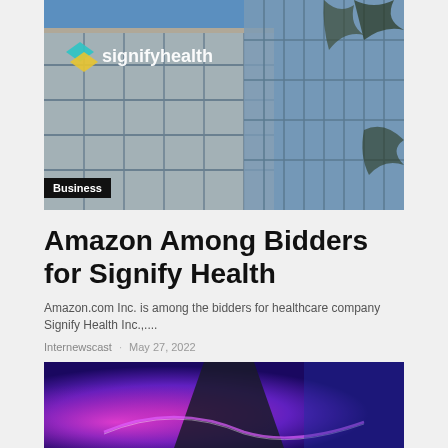[Figure (photo): Signify Health corporate office building exterior with logo sign on glass facade against blue sky]
Business
Amazon Among Bidders for Signify Health
Amazon.com Inc. is among the bidders for healthcare company Signify Health Inc.,...
Internewscast · May 27, 2022
[Figure (photo): Abstract purple and pink glowing neon light design on dark background]